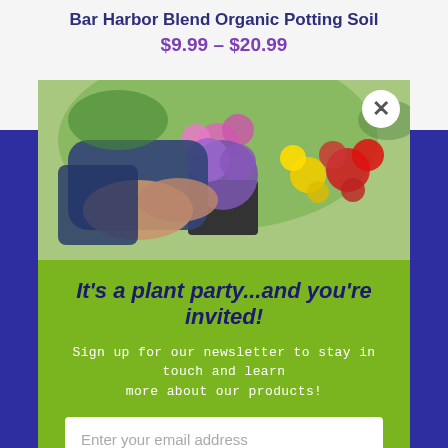Bar Harbor Blend Organic Potting Soil
$9.99 – $20.99
[Figure (photo): Person holding a pot of purple petunias surrounded by colorful flowers at a garden center]
It's a plant party...and you're invited!
Sign up for our newsletter to stay in touch and learn more about our products!
Enter your email address
SUBSCRIBE NOW
No, thanks
Contact
HERBS & FLOWERS • ENRICHED WITH COMPOST, LOBSTER & KELP